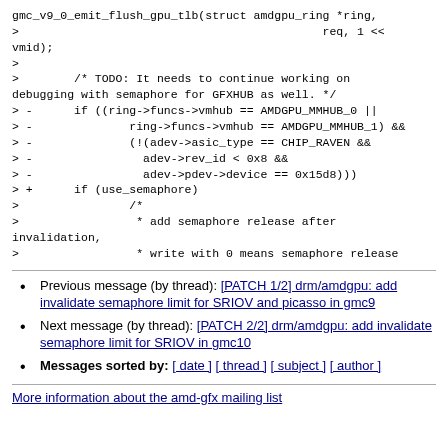gmc_v9_0_emit_flush_gpu_tlb(struct amdgpu_ring *ring,
>									 req, 1 <<
vmid);
>
>		/* TODO: It needs to continue working on
debugging with semaphore for GFXHUB as well. */
> -		if ((ring->funcs->vmhub == AMDGPU_MMHUB_0 ||
> -				ring->funcs->vmhub == AMDGPU_MMHUB_1) &&
> -				(!(adev->asic_type == CHIP_RAVEN &&
> -					adev->rev_id < 0x8 &&
> -					adev->pdev->device == 0x15d8)))
> +		if (use_semaphore)
>				/*
>				 * add semaphore release after
invalidation,
>				 * write with 0 means semaphore release
Previous message (by thread): [PATCH 1/2] drm/amdgpu: add invalidate semaphore limit for SRIOV and picasso in gmc9
Next message (by thread): [PATCH 2/2] drm/amdgpu: add invalidate semaphore limit for SRIOV in gmc10
Messages sorted by: [ date ] [ thread ] [ subject ] [ author ]
More information about the amd-gfx mailing list